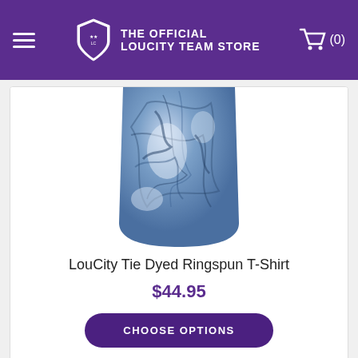THE OFFICIAL LOUCITY TEAM STORE
[Figure (photo): LouCity Tie Dyed Ringspun T-Shirt product image showing a blue and white tie-dye pattern t-shirt]
LouCity Tie Dyed Ringspun T-Shirt
$44.95
CHOOSE OPTIONS
[Figure (photo): Partial view of a second product (purple item) at the bottom of the page]